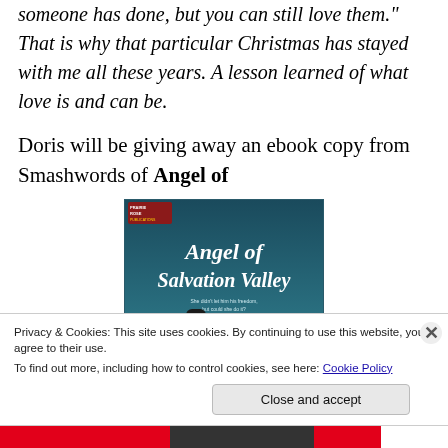someone has done, but you can still love them." That is why that particular Christmas has stayed with me all these years. A lesson learned of what love is and can be.
Doris will be giving away an ebook copy from Smashwords of Angel of
[Figure (illustration): Book cover for 'Angel of Salvation Valley' by Angela Raines. Shows two figures — a man in a black hat and a woman — against a Western landscape background. Published by Prairie Rose Publications. Teal/dark blue color scheme.]
Privacy & Cookies: This site uses cookies. By continuing to use this website, you agree to their use.
To find out more, including how to control cookies, see here: Cookie Policy